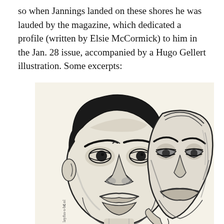so when Jannings landed on these shores he was lauded by the magazine, which dedicated a profile (written by Elsie McCormick) to him in the Jan. 28 issue, accompanied by a Hugo Gellert illustration. Some excerpts:
[Figure (illustration): Hugo Gellert illustration showing a man's face holding a theatrical comedy/tragedy mask. The man has a serious, intense expression with dark hair. The mask beside him shows exaggerated facial features. Black and white ink drawing style.]